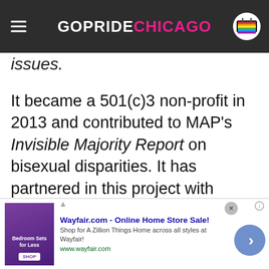GOPRIDE CHICAGO
issues.
It became a 501(c)3 non-profit in 2013 and contributed to MAP's Invisible Majority Report on bisexual disparities. It has partnered in this project with fellow bisexual organizations: Bi...ganizing Project of Minnesota, Bi...nique, Center of Boston, Los...
We use cookies.
Yes, we use cookies to ensure we give you the best experience using this website.
By closing this box or clicking on the continue button, you agree to our terms of use and consent to the use of
[Figure (screenshot): Advertisement banner for Wayfair.com - Online Home Store Sale! with purple bedroom furniture image, text 'Shop for A Zillion Things Home across all styles at Wayfair!' and URL www.wayfair.com]